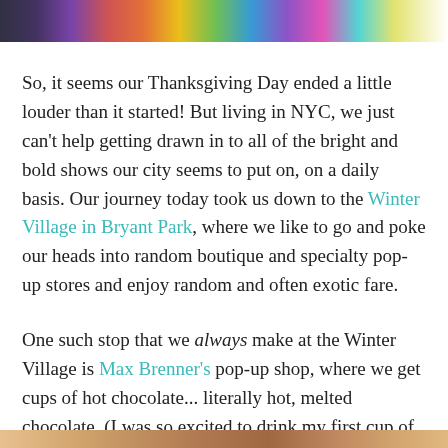[Figure (photo): Top portion of a colorful light display or LED installation, cropped at the bottom edge of the image strip.]
So, it seems our Thanksgiving Day ended a little louder than it started! But living in NYC, we just can't help getting drawn in to all of the bright and bold shows our city seems to put on, on a daily basis. Our journey today took us down to the Winter Village in Bryant Park, where we like to go and poke our heads into random boutique and specialty pop-up stores and enjoy random and often exotic fare.
One such stop that we always make at the Winter Village is Max Brenner's pop-up shop, where we get cups of hot chocolate... literally hot, melted chocolate. (I was so excited to drink my first cup of the season that I couldn't take a steady picture!)
[Figure (photo): Bottom partial image strip showing what appears to be an outdoor market or vendor stall scene.]